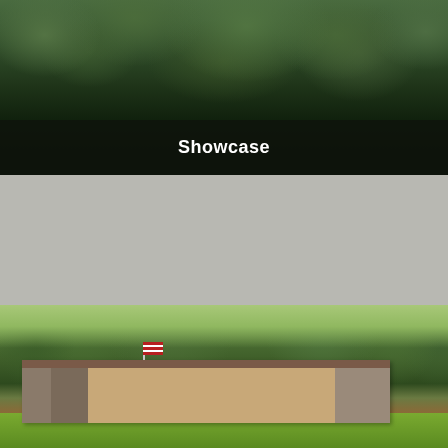[Figure (photo): Aerial/close-up photo of dense green tree foliage with dark background]
Showcase
$15,000
0000 S 672 Lane, Grove, OK
Courtesy of Hometown Real Estate
[Figure (photo): Exterior photo of a single-story brick ranch house with large trees, American flag on pole, and green lawn]